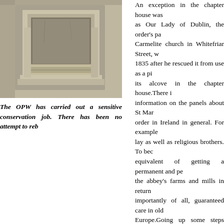[Figure (photo): Photograph of a stone architectural feature, likely a niche or alcove with carved stone surround in a medieval chapter house or cloister, showing weathered limestone masonry.]
The OPW has carried out a sensitive conservation job. There has been no attempt to reb
An exception in the chapter house was as Our Lady of Dublin, the order's pa Carmelite church in Whitefriar Street, w 1835 after he rescued it from use as a pi its alcove in the chapter house.There i information on the panels about St Mar order in Ireland in general. For example lay as well as religious brothers. To bec equivalent of getting a permanent and pe the abbey's farms and mills in return importantly of all, guaranteed care in old Europe.Going up some steps you come t linked the cloisters to the outside. In s
parlour for the abbot. It is similar in appearance to the chapter house but smalle cabinets with archaeological remains associated with the abbey and other Ciste pottery, tiles and statues. Here too maps give an indication of the abbey thro eventually incorporated into the city.The fascinating thing about St Mary's is that Cistercian houses followed the order's master plan, so that by superimposing archaeologists can determine the footprint of the medieval abbey below the pre amateur and accidental discoveries, no organised excavation has been carried ou have occupied. That leaves open the tantalising prospect that 2m beneath Capel S House Lane there could still be extensive remains of the abbey's chapel, cloisters to be discovered. HI